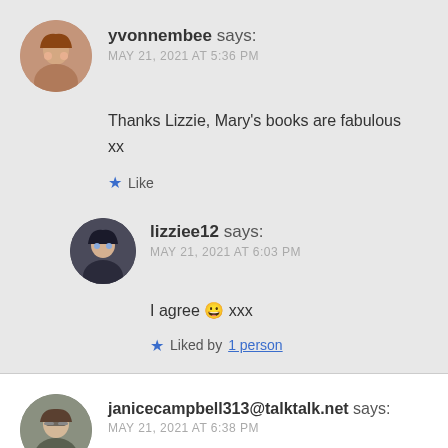yvonnembee says:
MAY 21, 2021 AT 5:36 PM
Thanks Lizzie, Mary's books are fabulous xx
Like
lizziee12 says:
MAY 21, 2021 AT 6:03 PM
I agree 😀 xxx
Liked by 1 person
janicecampbell313@talktalk.net says:
MAY 21, 2021 AT 6:38 PM